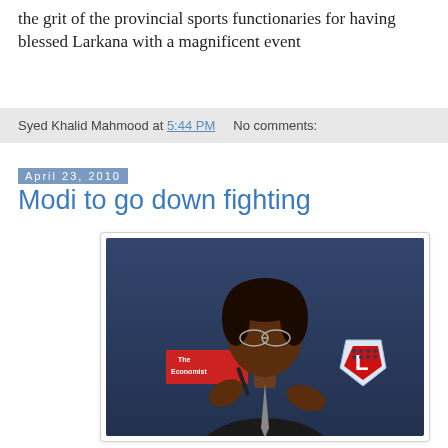the grit of the provincial sports functionaries for having blessed Larkana with a magnificent event
Syed Khalid Mahmood at 5:44 PM    No comments:
April 23, 2010
Modi to go down fighting
[Figure (photo): A man with glasses and dark skin in a dark suit, gesturing with both hands while holding a pen, in front of a dark blue background with The Economist and NFL-style logos visible]
By Syed Khalid Mahmood